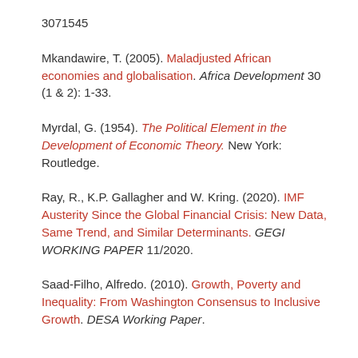3071545
Mkandawire, T. (2005). Maladjusted African economies and globalisation. Africa Development 30 (1 & 2): 1-33.
Myrdal, G. (1954). The Political Element in the Development of Economic Theory. New York: Routledge.
Ray, R., K.P. Gallagher and W. Kring. (2020). IMF Austerity Since the Global Financial Crisis: New Data, Same Trend, and Similar Determinants. GEGI WORKING PAPER 11/2020.
Saad-Filho, Alfredo. (2010). Growth, Poverty and Inequality: From Washington Consensus to Inclusive Growth. DESA Working Paper.